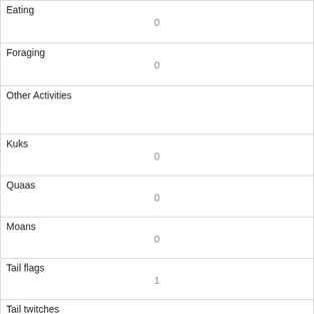| Eating | 0 |
| Foraging | 0 |
| Other Activities |  |
| Kuks | 0 |
| Quaas | 0 |
| Moans | 0 |
| Tail flags | 1 |
| Tail twitches | 1 |
| Approaches | 0 |
| Indifferent | 1 |